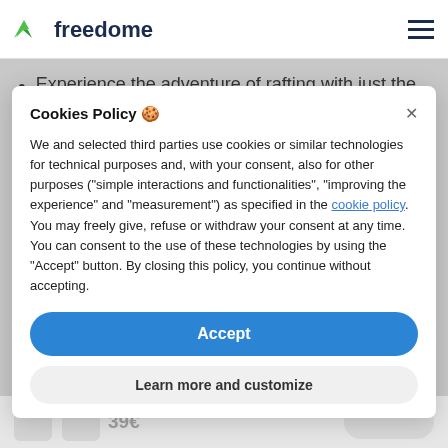freedome
Experience the adventure of rafting with just the right amount of adrenaline
1 actual hour of navigation for a stretch of 8 km
adventure on the beautiful Walnut River
Cookies Policy 🍪
We and selected third parties use cookies or similar technologies for technical purposes and, with your consent, also for other purposes ("simple interactions and functionalities", "improving the experience" and "measurement") as specified in the cookie policy. You may freely give, refuse or withdraw your consent at any time. You can consent to the use of these technologies by using the "Accept" button. By closing this policy, you continue without accepting.
Accept
Learn more and customize